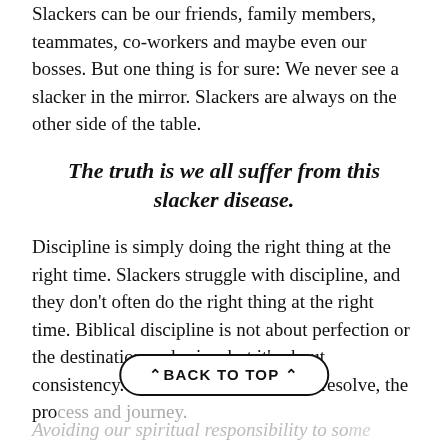Slackers can be our friends, family members, teammates, co-workers and maybe even our bosses. But one thing is for sure: We never see a slacker in the mirror. Slackers are always on the other side of the table.
The truth is we all suffer from this slacker disease.
Discipline is simply doing the right thing at the right time. Slackers struggle with discipline, and they don't often do the right thing at the right time. Biblical discipline is not about perfection or the destination and prize, but it's about consistency. It's about the pursuit and resolve, the process and journey.
Avoiding our spiritual responsibility to someone